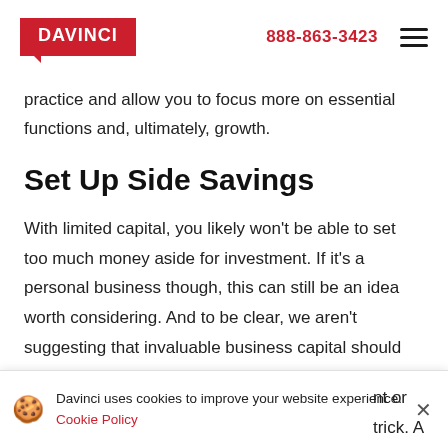DAVINCI | 888-863-3423
practice and allow you to focus more on essential functions and, ultimately, growth.
Set Up Side Savings
With limited capital, you likely won't be able to set too much money aside for investment. If it's a personal business though, this can still be an idea worth considering. And to be clear, we aren't suggesting that invaluable business capital should be placed into a risky stock
Davinci uses cookies to improve your website experience. Cookie Policy